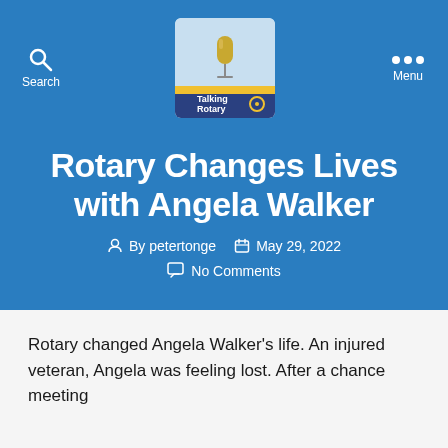Search   Talking Rotary [logo]   Menu
Rotary Changes Lives with Angela Walker
By petertonge   May 29, 2022   No Comments
Rotary changed Angela Walker's life. An injured veteran, Angela was feeling lost. After a chance meeting